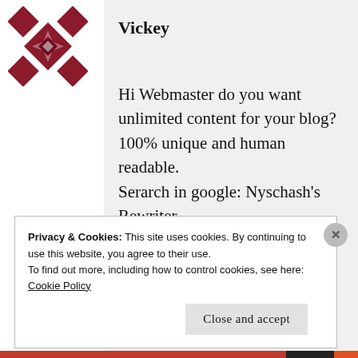[Figure (logo): Dark red decorative snowflake/quilt pattern logo icon in top left]
Vickey
Hi Webmaster do you want unlimited content for your blog? 100% unique and human readable.
Serarch in google: Nyschash's Rewriter
Privacy & Cookies: This site uses cookies. By continuing to use this website, you agree to their use.
To find out more, including how to control cookies, see here: Cookie Policy
Close and accept